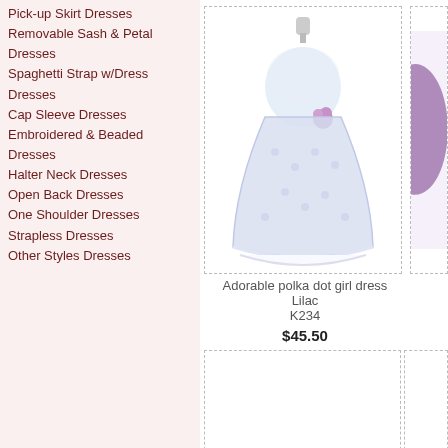Pick-up Skirt Dresses
Removable Sash & Petal Dresses
Spaghetti Strap w/Dress Dresses
Cap Sleeve Dresses
Embroidered & Beaded Dresses
Halter Neck Dresses
Open Back Dresses
One Shoulder Dresses
Strapless Dresses
Other Styles Dresses
[Figure (photo): Lilac polka dot flower girl dress on mannequin]
Adorable polka dot girl dress
Lilac
K234
$45.50
[Figure (photo): Partially visible purple/lavender dress on right side]
[Figure (photo): Empty product card placeholder at bottom left]
[Figure (photo): Empty product card placeholder at bottom right]